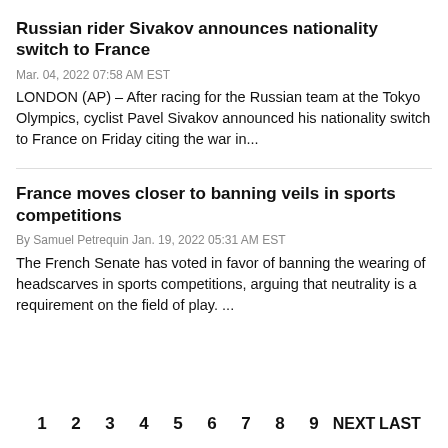Russian rider Sivakov announces nationality switch to France
Mar. 04, 2022 07:58 AM EST
LONDON (AP) – After racing for the Russian team at the Tokyo Olympics, cyclist Pavel Sivakov announced his nationality switch to France on Friday citing the war in...
France moves closer to banning veils in sports competitions
By Samuel Petrequin Jan. 19, 2022 05:31 AM EST
The French Senate has voted in favor of banning the wearing of headscarves in sports competitions, arguing that neutrality is a requirement on the field of play. ...
1  2  3  4  5  6  7  8  9  NEXT  LAST